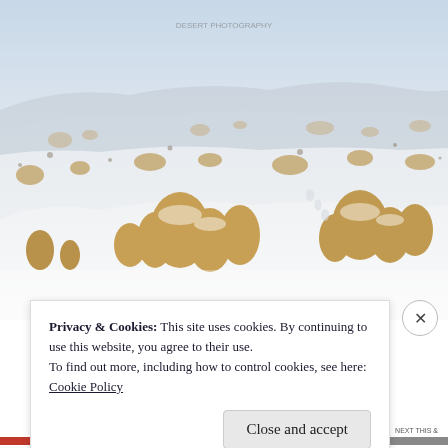[Figure (photo): Winter snow scene with dry desert shrubs and grasses poking through snow cover on undulating terrain, pale sky in background]
Privacy & Cookies: This site uses cookies. By continuing to use this website, you agree to their use.
To find out more, including how to control cookies, see here:
Cookie Policy
Close and accept